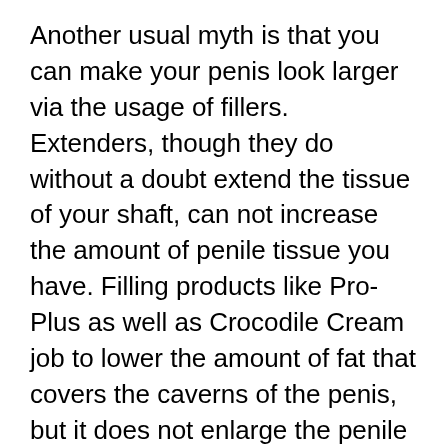Another usual myth is that you can make your penis look larger via the usage of fillers. Extenders, though they do without a doubt extend the tissue of your shaft, can not increase the amount of penile tissue you have. Filling products like Pro-Plus as well as Crocodile Cream job to lower the amount of fat that covers the caverns of the penis, but it does not enlarge the penile tissue itself. As a matter of fact, the decrease of fatty tissue makes your erection looks smaller sized because the caverns are much less strong; a phenomenon called ‘penis spasms.’
An additional popular misconception is that you can obtain a larger penis by improving your body picture. This is not true. There are data from that t number of body building...